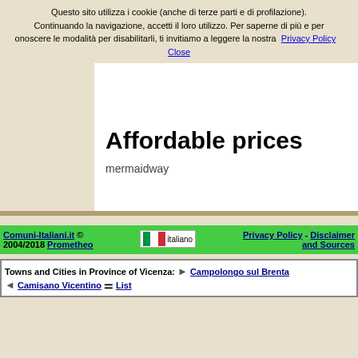Questo sito utilizza i cookie (anche di terze parti e di profilazione). Continuando la navigazione, accetti il loro utilizzo. Per saperne di più e per onoscere le modalità per disabilitarli, ti invitiamo a leggere la nostra Privacy Policy   Close
Affordable prices
mermaidway
Comuni-Italiani.it © 2004/2018 Prometheo   italiano   Privacy Policy - Disclaimer and Sources
Towns and Cities in Province of Vicenza: ▶ Campolongo sul Brenta ◀ Camisano Vicentino ≡ List